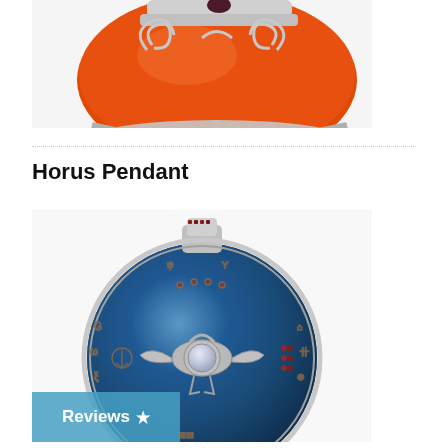[Figure (photo): Close-up photo of an orange enamel bead with silver swirl decorations and a dark gemstone at top, white background]
Horus Pendant
[Figure (photo): Photo of a silver Horus Eye pendant with blue iridescent background disk, moonstone center, Egyptian hieroglyph engravings, red gemstone accents, and a decorative bail at top]